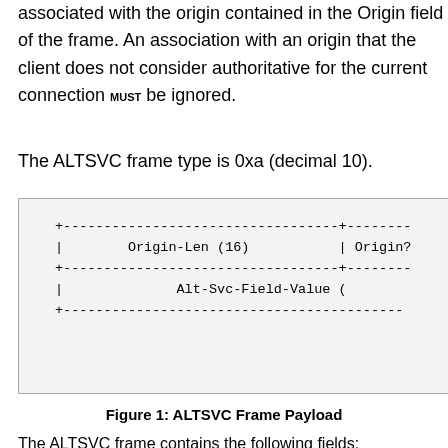associated with the origin contained in the Origin field of the frame. An association with an origin that the client does not consider authoritative for the current connection MUST be ignored.
The ALTSVC frame type is 0xa (decimal 10).
[Figure (schematic): ALTSVC Frame Payload diagram showing fields: Origin-Len (16) and Origin? on first row, Alt-Svc-Field-Value ( on second row, with dashed border lines]
Figure 1: ALTSVC Frame Payload
The ALTSVC frame contains the following fields:
Origin-Len:  An unsigned, 16-bit integer indic[ating the] length, in octets, of the Origin field.